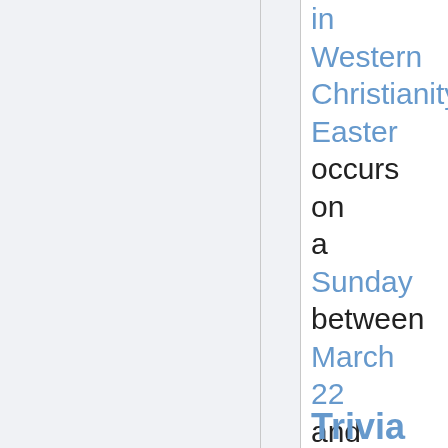in Western Christianity, Easter occurs on a Sunday between March 22 and April 25, inclusive.
Trivia